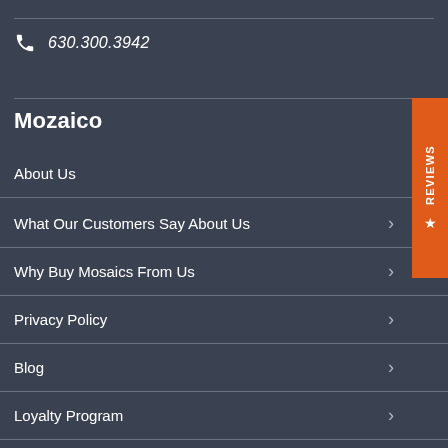630.300.3942
Mozaico
About Us
What Our Customers Say About Us
Why Buy Mosaics From Us
Privacy Policy
Blog
Loyalty Program
My Mosaic Finder